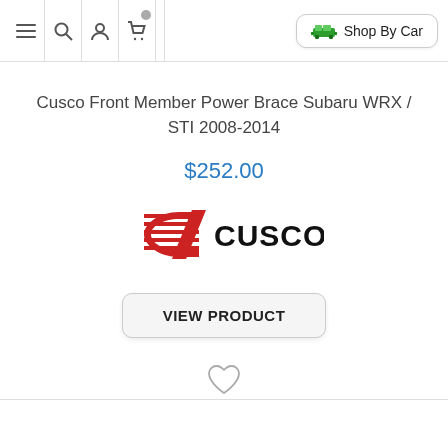Navigation bar with menu, search, account, cart icons and Shop By Car button
Cusco Front Member Power Brace Subaru WRX / STI 2008-2014
$252.00
[Figure (logo): Cusco brand logo with red C emblem and CUSCO text in black]
VIEW PRODUCT
[Figure (illustration): Heart/wishlist outline icon]